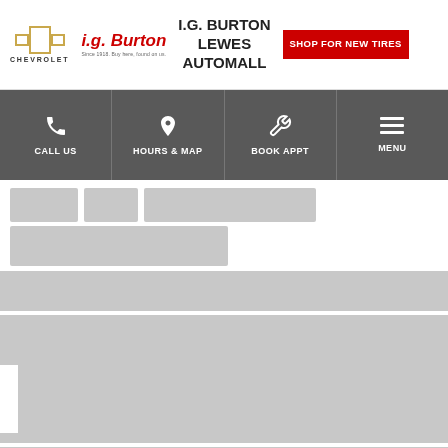[Figure (logo): Chevrolet bowtie logo with CHEVROLET text below]
[Figure (logo): i.g. Burton logo in red italic with tagline]
I.G. BURTON LEWES AUTOMALL
[Figure (infographic): Red button: SHOP FOR NEW TIRES]
[Figure (screenshot): Navigation bar with CALL US, HOURS & MAP, BOOK APPT, MENU icons on dark gray background]
[Figure (screenshot): Loading placeholder content blocks in light gray]